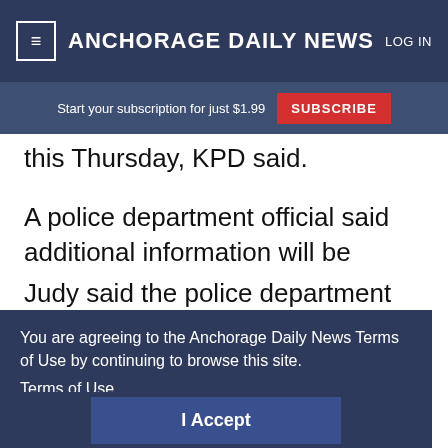≡ ANCHORAGE DAILY NEWS  LOG IN
Start your subscription for just $1.99  SUBSCRIBE
this Thursday, KPD said.
A police department official said additional information will be available on Thursday.
Judy said the police department told her it barred access to the materials because it needed to uphold
You are agreeing to the Anchorage Daily News Terms of Use by continuing to browse this site.
Terms of Use
I Accept